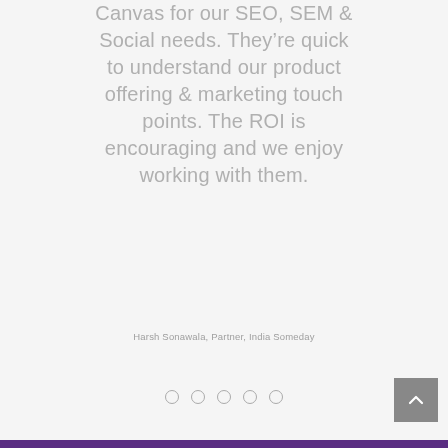Canvas for our SEO, SEM & Social needs. They're quick to understand our product offering & marketing touch points. The ROI is encouraging and we enjoy working with them.
Harsh Sonawala, Partner, India Someday
[Figure (other): Carousel navigation dots (5 dots, first one outlined/active, rest empty circles)]
[Figure (other): Scroll-to-top button: grey square with upward chevron arrow]